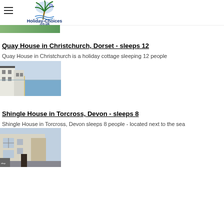Holiday-Choices.co.uk
[Figure (photo): Partial green landscape image at top of page, partially cut off]
Quay House in Christchurch, Dorset - sleeps 12
Quay House in Christchurch is a holiday cottage sleeping 12 people
[Figure (photo): Photo of Quay House in Christchurch showing white buildings along a beachfront with sandy path]
Shingle House in Torcross, Devon - sleeps 8
Shingle House in Torcross, Devon sleeps 8 people - located next to the sea
[Figure (photo): Photo of Shingle House in Torcross, Devon showing a large white/cream building facade]